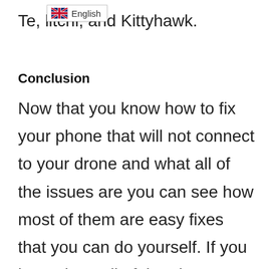Te[...], litchi, and Kittyhawk.
[Figure (screenshot): Browser translation popup showing UK flag and 'English' label]
Conclusion
Now that you know how to fix your phone that will not connect to your drone and what all of the issues are you can see how most of them are easy fixes that you can do yourself. If you have done all of the above steps you still cannot get your phone to connect to your drone you may need to contact your drones